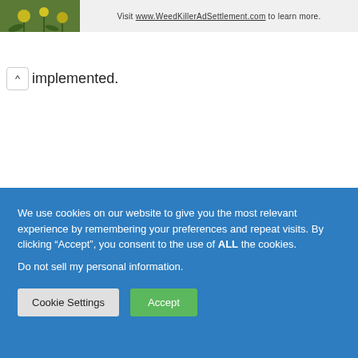Visit www.WeedKillerAdSettlement.com to learn more.
implemented.
We use cookies on our website to give you the most relevant experience by remembering your preferences and repeat visits. By clicking “Accept”, you consent to the use of ALL the cookies.
Do not sell my personal information.